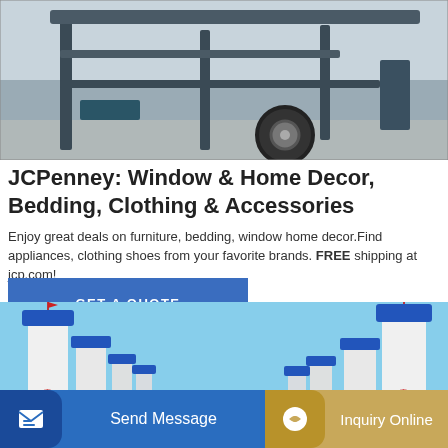[Figure (photo): Construction machinery / trailer with large wheel, metallic frame, outdoor industrial setting]
JCPenney: Window & Home Decor, Bedding, Clothing & Accessories
Enjoy great deals on furniture, bedding, window home decor.Find appliances, clothing shoes from your favorite brands. FREE shipping at jcp.com!
GET A QUOTE
[Figure (photo): Industrial concrete batching plant with tall white silos capped in blue, labeled in Chinese characters (中铁十局), blue sky background]
Send Message
Inquiry Online